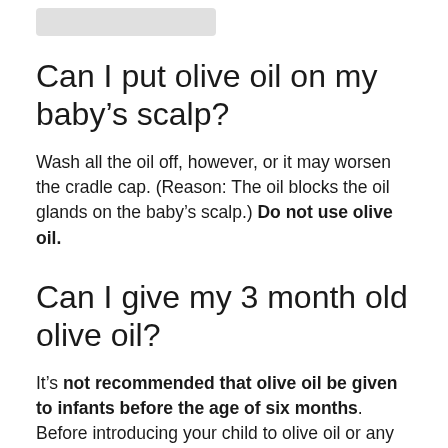Can I put olive oil on my baby's scalp?
Wash all the oil off, however, or it may worsen the cradle cap. (Reason: The oil blocks the oil glands on the baby's scalp.) Do not use olive oil.
Can I give my 3 month old olive oil?
It's not recommended that olive oil be given to infants before the age of six months. Before introducing your child to olive oil or any other substance, be sure to